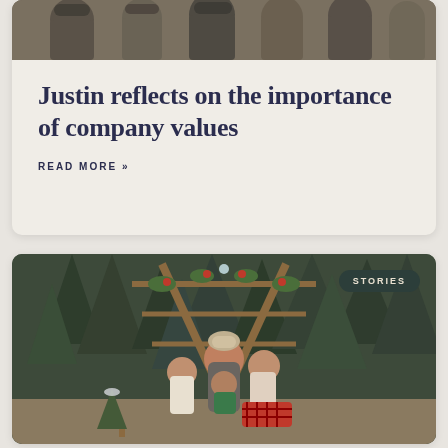[Figure (photo): Photo of a group of people, partially visible at top of card]
Justin reflects on the importance of company values
READ MORE »
[Figure (photo): Holiday family photo with a woman and three children posing in front of a decorated wooden teepee structure with Christmas greenery and red accents, outdoors among pine trees. A 'STORIES' badge is overlaid in the top right corner.]